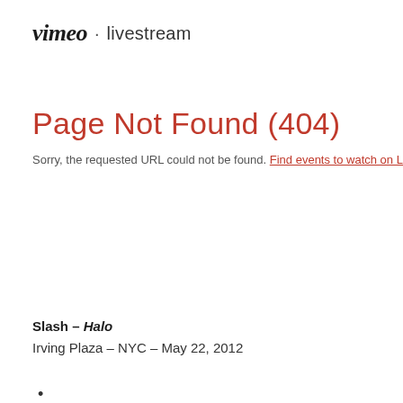vimeo · livestream
Page Not Found (404)
Sorry, the requested URL could not be found. Find events to watch on Live
Slash – Halo
Irving Plaza – NYC – May 22, 2012